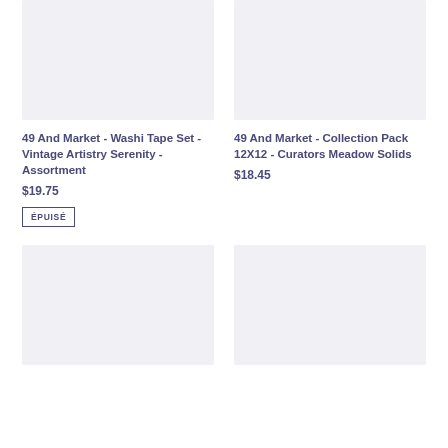[Figure (photo): Product image placeholder - light gray background, top left]
49 And Market - Washi Tape Set - Vintage Artistry Serenity - Assortment
$19.75
ÉPUISÉ
[Figure (photo): Product image placeholder - light gray background, top right]
49 And Market - Collection Pack 12X12 - Curators Meadow Solids
$18.45
[Figure (photo): Product image placeholder - light gray background, bottom left]
[Figure (photo): Product image placeholder - light gray background, bottom right]